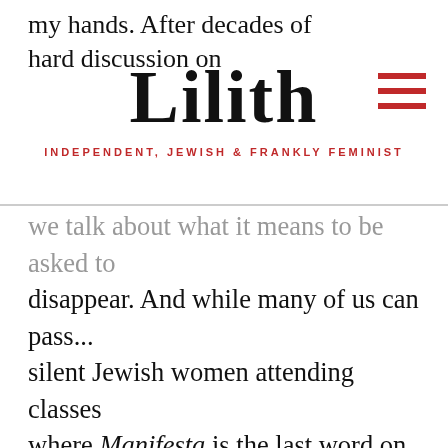my hands. After decades of hard discussion on
Lilith
INDEPENDENT, JEWISH & FRANKLY FEMINIST
we talk about what it means to be asked to disappear. And while many of us can pass... silent Jewish women attending classes where Manifesta is the last word on the Third Wave...we still can't demand to be included in the story (or the Manifesta timeline). The whole message of Colonize This! appears to be that passing and blending in is not desirable, that a feminist has a right to her whole personal and cultural identity. Regardless of Brooks' contempt for Jewish women who attempt to do so, I think it's a right on